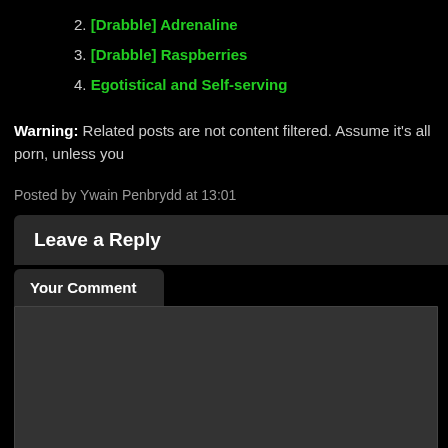2. [Drabble] Adrenaline
3. [Drabble] Raspberries
4. Egotistical and Self-serving
Warning: Related posts are not content filtered. Assume it's all porn, unless you
Posted by Ywain Penbrydd at 13:01
Leave a Reply
Your Comment
You may use these HTML tags and attributes: <a href="" title=""> <abl <blockquote cite=""> <cite> <code> <del datetime=""> <em>